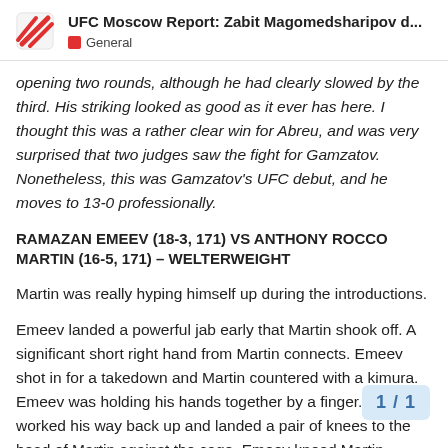UFC Moscow Report: Zabit Magomedsharipov d... | General
opening two rounds, although he had clearly slowed by the third. His striking looked as good as it ever has here. I thought this was a rather clear win for Abreu, and was very surprised that two judges saw the fight for Gamzatov. Nonetheless, this was Gamzatov's UFC debut, and he moves to 13-0 professionally.
RAMAZAN EMEEV (18-3, 171) VS ANTHONY ROCCO MARTIN (16-5, 171) – WELTERWEIGHT
Martin was really hyping himself up during the introductions.
Emeev landed a powerful jab early that Martin shook off. A significant short right hand from Martin connects. Emeev shot in for a takedown and Martin countered with a kimura. Emeev was holding his hands together by a finger. Emeev worked his way back up and landed a pair of knees to the head of Martin against the cage. Emeev kneed Martin low and Goddard separated them. Very close round...
1 / 1